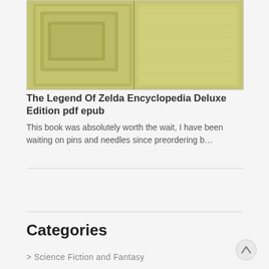[Figure (photo): Book cover image of The Legend Of Zelda Encyclopedia Deluxe Edition showing a gold/olive colored textured cover with embossed panels]
The Legend Of Zelda Encyclopedia Deluxe Edition pdf epub
This book was absolutely worth the wait, I have been waiting on pins and needles since preordering b…
Categories
> Science Fiction and Fantasy